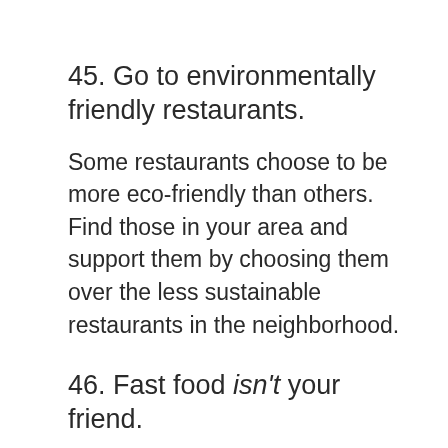45. Go to environmentally friendly restaurants.
Some restaurants choose to be more eco-friendly than others. Find those in your area and support them by choosing them over the less sustainable restaurants in the neighborhood.
46. Fast food isn't your friend.
Fast food produces a lot of garbage. Each item comes in its own container that is usually soiled with grease and oils, making recycling nearly impossible. For example, the pizza box cannot for all practical intents be